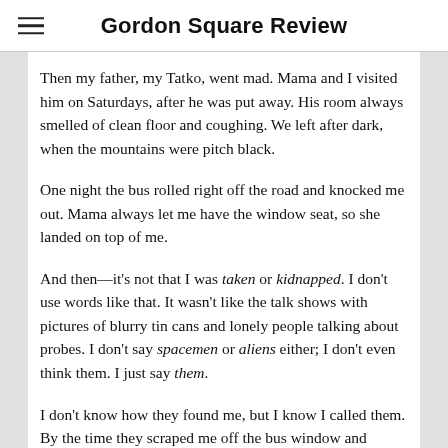Gordon Square Review
Then my father, my Tatko, went mad. Mama and I visited him on Saturdays, after he was put away. His room always smelled of clean floor and coughing. We left after dark, when the mountains were pitch black.
One night the bus rolled right off the road and knocked me out. Mama always let me have the window seat, so she landed on top of me.
And then—it’s not that I was taken or kidnapped. I don’t use words like that. It wasn’t like the talk shows with pictures of blurry tin cans and lonely people talking about probes. I don’t say spacemen or aliens either; I don’t even think them. I just say them.
I don’t know how they found me, but I know I called them. By the time they scraped me off the bus window and brought me on board, I already knew who they